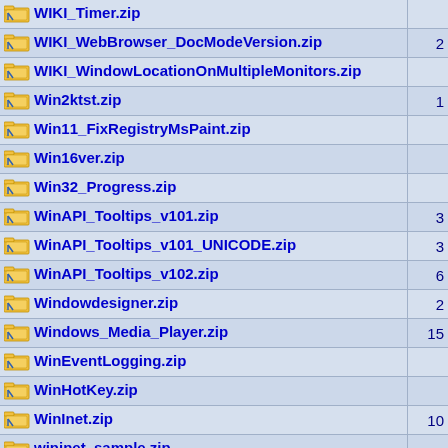| Name | Size |
| --- | --- |
| WIKI_Timer.zip |  |
| WIKI_WebBrowser_DocModeVersion.zip | 2 |
| WIKI_WindowLocationOnMultipleMonitors.zip |  |
| Win2ktst.zip | 1 |
| Win11_FixRegistryMsPaint.zip |  |
| Win16ver.zip |  |
| Win32_Progress.zip |  |
| WinAPI_Tooltips_v101.zip | 3 |
| WinAPI_Tooltips_v101_UNICODE.zip | 3 |
| WinAPI_Tooltips_v102.zip | 6 |
| Windowdesigner.zip | 2 |
| Windows_Media_Player.zip | 15 |
| WinEventLogging.zip |  |
| WinHotKey.zip |  |
| WinInet.zip | 10 |
| wininet_sample.zip |  |
| WinMsgLog.zip |  |
| winsdk16.zip |  |
| winsdk32.zip |  |
| Winsock.zip | 1 |
| WinsockControl.zip | 1 |
| WinsockDll.zip |  |